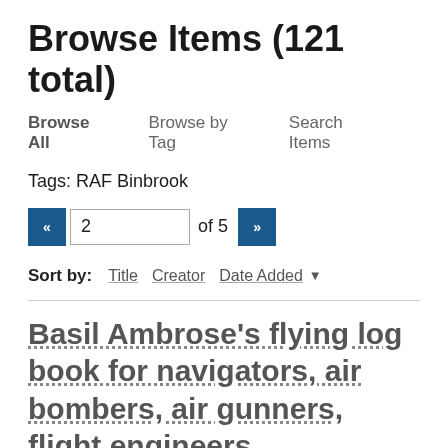Browse Items (121 total)
Browse All   Browse by Tag   Search Items
Tags: RAF Binbrook
« 2 of 5 »
Sort by:  Title  Creator  Date Added ▾
Basil Ambrose's flying log book for navigators, air bombers, air gunners, flight engineers